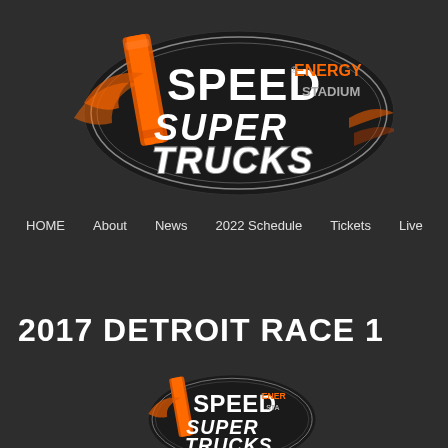[Figure (logo): Speed Energy Stadium Super Trucks logo - oval shaped emblem with orange diagonal element, white SPEED text, orange ENERGY text, grey STADIUM text, large white SUPER text, and large white TRUCKS text on dark background with orange accents]
HOME   About   News   2022 Schedule   Tickets   Live
2017 DETROIT RACE 1
[Figure (logo): Speed Energy Stadium Super Trucks logo - partial view at bottom of page, same design as top logo]